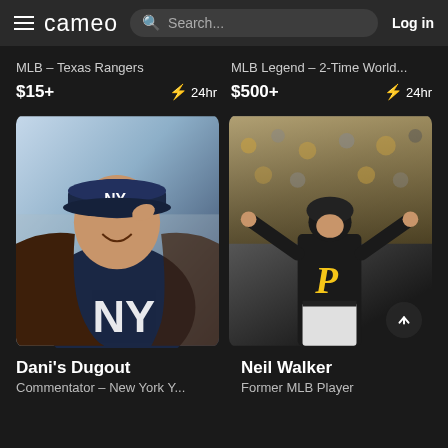cameo | Search... | Log in
MLB – Texas Rangers
$15+  ⚡ 24hr
MLB Legend – 2-Time World...
$500+  ⚡ 24hr
[Figure (photo): Woman smiling, wearing a New York Yankees navy hoodie and cap, long brown hair]
[Figure (photo): Baseball player number 18 wearing Pittsburgh Pirates black jersey, arms raised celebrating in front of crowd]
Dani's Dugout
Commentator – New York Y...
Neil Walker
Former MLB Player